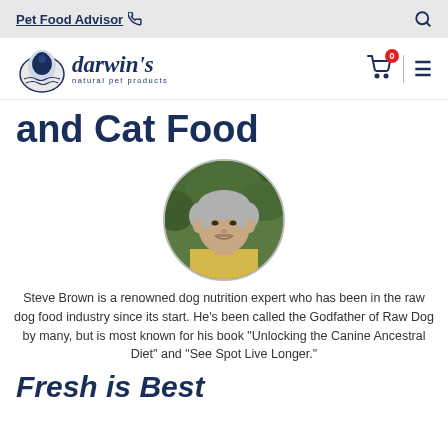Pet Food Advisor
[Figure (logo): Darwin's Natural Pet Products logo with dog illustration]
and Cat Food
[Figure (photo): Circular portrait photo of Steve Brown, a middle-aged man with grey hair wearing a yellow shirt, smiling outdoors with green foliage in background]
Steve Brown is a renowned dog nutrition expert who has been in the raw dog food industry since its start. He's been called the Godfather of Raw Dog by many, but is most known for his book "Unlocking the Canine Ancestral Diet" and "See Spot Live Longer."
Fresh is Best